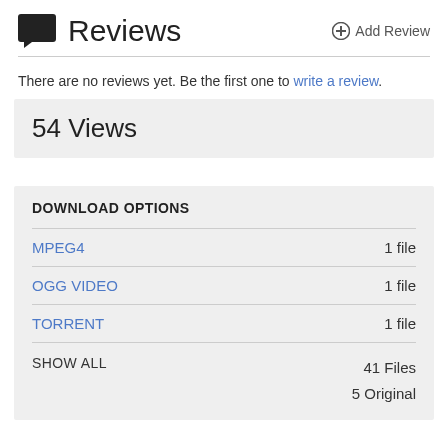Reviews
Add Review
There are no reviews yet. Be the first one to write a review.
54 Views
DOWNLOAD OPTIONS
| Format | Count |
| --- | --- |
| MPEG4 | 1 file |
| OGG VIDEO | 1 file |
| TORRENT | 1 file |
SHOW ALL
41 Files
5 Original